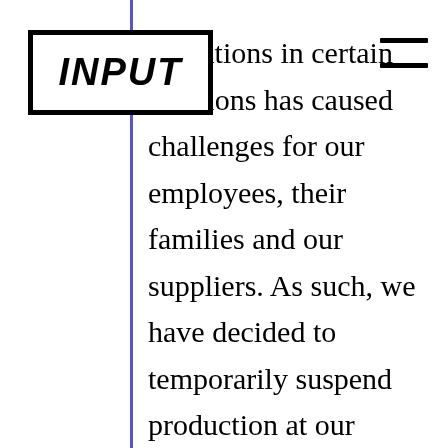[Figure (logo): INPUT logo — bold italic text inside a rectangular border]
operations in certain locations has caused challenges for our employees, their families and our suppliers. As such, we have decided to temporarily suspend production at our factory in Fremont, from end of day March 23, which will allow an orderly shutdown. Basic operations will continue in order to support our vehicle and energy service operations and charging infrastructure, as directed by the local, state and federal authorities. Our factory in New York will temporarily suspend production as well, except for those parts and supplies necessary for service, infrastructure and critical supply chains. Operations of our others facilities will continue, including Nevada and our service and